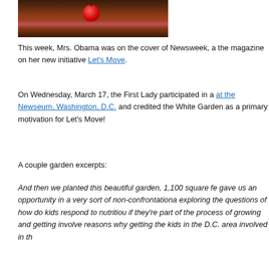[Figure (photo): Photo of a person at a table with a red apple in the foreground, dark background]
This week, Mrs. Obama was on the cover of Newsweek, a the magazine on her new initiative Let's Move.
On Wednesday, March 17, the First Lady participated in a at the Newseum, Washington, D.C. and credited the White Garden as a primary motivation for Let's Move!
A couple garden excerpts:
And then we planted this beautiful garden, 1,100 square fe gave us an opportunity in a very sort of non-confrontationa exploring the questions of how do kids respond to nutritiou if they're part of the process of growing and getting involve reasons why getting the kids in the D.C. area involved in th